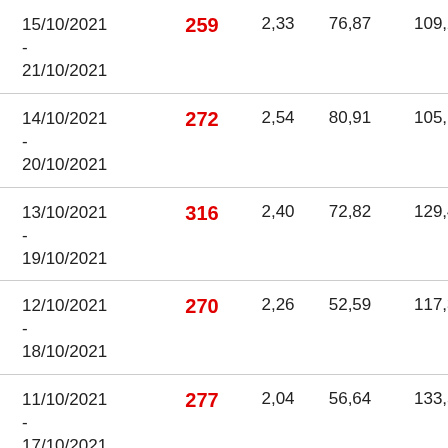| Date | Value1 | Value2 | Value3 | Value4 |
| --- | --- | --- | --- | --- |
| 15/10/2021 - 21/10/2021 | 259 | 2,33 | 76,87 | 109,23 |
| 14/10/2021 - 20/10/2021 | 272 | 2,54 | 80,91 | 105,19 |
| 13/10/2021 - 19/10/2021 | 316 | 2,40 | 72,82 | 129,46 |
| 12/10/2021 - 18/10/2021 | 270 | 2,26 | 52,59 | 117,32 |
| 11/10/2021 - 17/10/2021 | 277 | 2,04 | 56,64 | 133,51 |